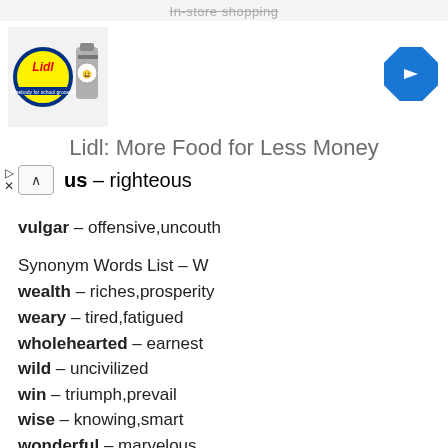[Figure (screenshot): Advertisement banner for Lidl: More Food for Less Money, with Lidl logo and navigation arrow]
…ous – righteous
vulgar – offensive,uncouth
Synonym Words List – W
wealth – riches,prosperity
weary – tired,fatigued
wholehearted – earnest
wild – uncivilized
win – triumph,prevail
wise – knowing,smart
wonderful – marvelous
worn – used
wrong – mistaken